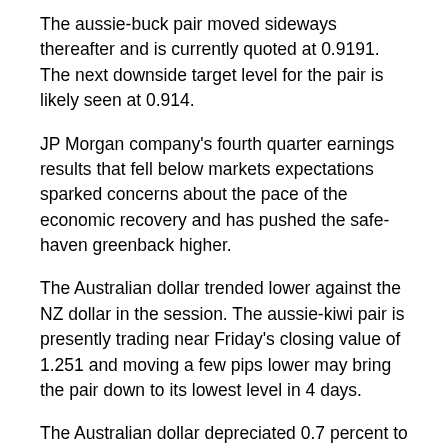The aussie-buck pair moved sideways thereafter and is currently quoted at 0.9191. The next downside target level for the pair is likely seen at 0.914.
JP Morgan company's fourth quarter earnings results that fell below markets expectations sparked concerns about the pace of the economic recovery and has pushed the safe-haven greenback higher.
The Australian dollar trended lower against the NZ dollar in the session. The aussie-kiwi pair is presently trading near Friday's closing value of 1.251 and moving a few pips lower may bring the pair down to its lowest level in 4 days.
The Australian dollar depreciated 0.7 percent to a 4-day low of 1.5637 against the European currency by 9:30 pm ET from Friday's 4-day high of 1.553. The euro-aussie pair that closed last week's deals at 1.5584 is presently worth 1.5628 with 1.579 seen as the next target level.
From Europe, the Italian Trade balance report will be